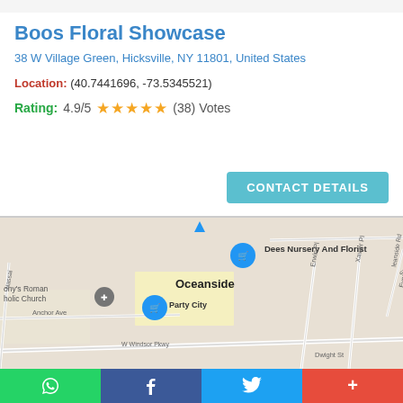Boos Floral Showcase
38 W Village Green, Hicksville, NY 11801, United States
Location: (40.7441696, -73.5345521)
Rating: 4.9/5 ★★★★★ (38) Votes
[Figure (map): Google Maps view showing Oceanside area with markers for Dees Nursery And Florist, Party City, and a church. Streets include Long Beach Rd, Trinity St, Roxbury Rd, W Windsor Pkwy, Anchor Ave, Pine St, Erwin Pl, Xavier Pl, Sunnyside R, Dwight St.]